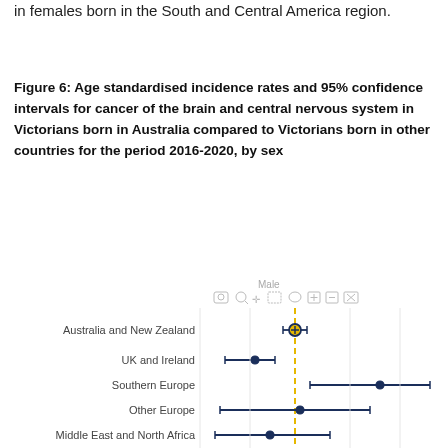in females born in the South and Central America region.
Figure 6: Age standardised incidence rates and 95% confidence intervals for cancer of the brain and central nervous system in Victorians born in Australia compared to Victorians born in other countries for the period 2016-2020, by sex
[Figure (other): Forest plot showing age standardised incidence rates and 95% confidence intervals for cancer of the brain and central nervous system in Victorians born in various regions compared to Australia, for males. Regions shown: Australia and New Zealand, UK and Ireland, Southern Europe, Other Europe, Middle East and North Africa. A dashed yellow vertical reference line marks the Australian rate. Points and horizontal CI lines are shown in dark navy blue.]